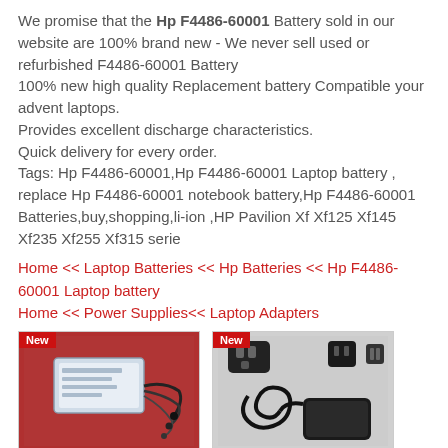We promise that the Hp F4486-60001 Battery sold in our website are 100% brand new - We never sell used or refurbished F4486-60001 Battery
100% new high quality Replacement battery Compatible your advent laptops.
Provides excellent discharge characteristics.
Quick delivery for every order.
Tags: Hp F4486-60001,Hp F4486-60001 Laptop battery , replace Hp F4486-60001 notebook battery,Hp F4486-60001 Batteries,buy,shopping,li-ion ,HP Pavilion Xf Xf125 Xf145 Xf235 Xf255 Xf315 serie
Home << Laptop Batteries << Hp Batteries << Hp F4486-60001 Laptop battery
Home << Power Supplies<< Laptop Adapters
[Figure (photo): Photo of a laptop battery (HP F4486-60001) with wires on a red background, labeled New]
[Figure (photo): Photo of a laptop power adapter/charger with accessories on a white background, labeled New]